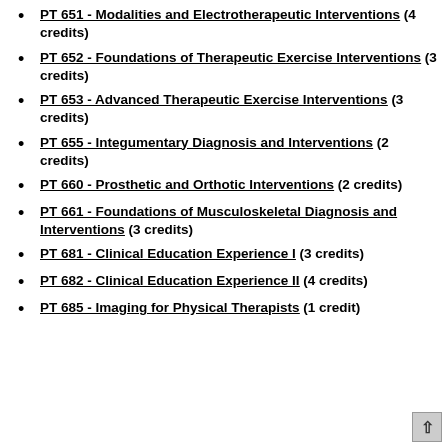Evaluation (2 credits) [partial, top of page]
PT 651 - Modalities and Electrotherapeutic Interventions (4 credits)
PT 652 - Foundations of Therapeutic Exercise Interventions (3 credits)
PT 653 - Advanced Therapeutic Exercise Interventions (3 credits)
PT 655 - Integumentary Diagnosis and Interventions (2 credits)
PT 660 - Prosthetic and Orthotic Interventions (2 credits)
PT 661 - Foundations of Musculoskeletal Diagnosis and Interventions (3 credits)
PT 681 - Clinical Education Experience I (3 credits)
PT 682 - Clinical Education Experience II (4 credits)
PT 685 - Imaging for Physical Therapists (1 credit)